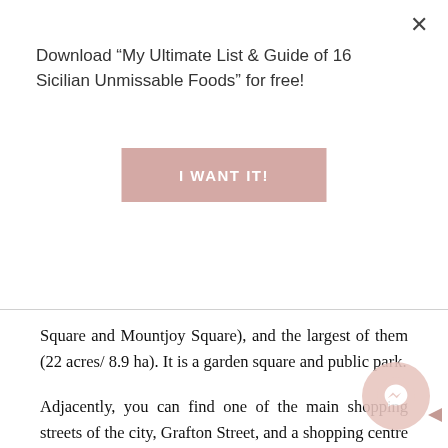Download “My Ultimate List & Guide of 16 Sicilian Unmissable Foods” for free!
I WANT IT!
Square and Mountjoy Square), and the largest of them (22 acres/ 8.9 ha). It is a garden square and public park.
Adjacently, you can find one of the main shopping streets of the city, Grafton Street, and a shopping centre named after it.
The park is rectangular, and streets that to be the main thoroughfares across Dublin